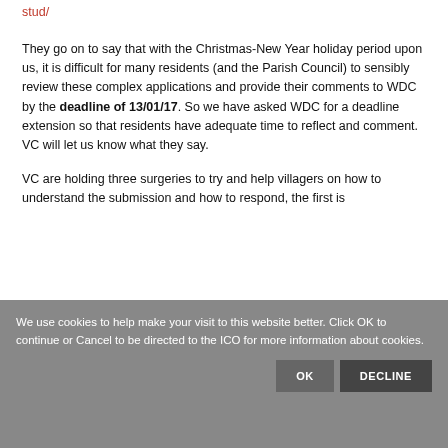stud/
They go on to say that with the Christmas-New Year holiday period upon us, it is difficult for many residents (and the Parish Council) to sensibly review these complex applications and provide their comments to WDC by the deadline of 13/01/17. So we have asked WDC for a deadline extension so that residents have adequate time to reflect and comment. VC will let us know what they say.

VC are holding three surgeries to try and help villagers on how to understand the submission and how to respond, the first is
We use cookies to help make your visit to this website better. Click OK to continue or Cancel to be directed to the ICO for more information about cookies.